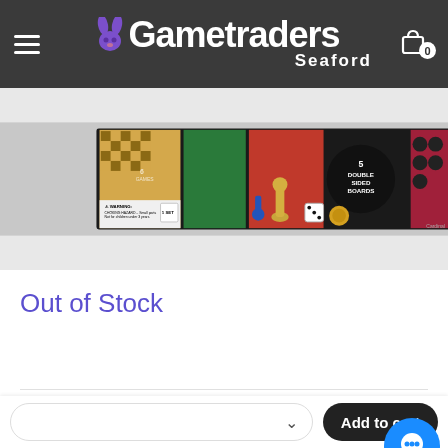Gametraders Seaford
[Figure (photo): Board game set box showing chess, checkers, and other games with text '5 Double Sided Boards', warning label, and game pieces including dice, chess piece, and tokens]
Out of Stock
[Figure (screenshot): Bottom navigation bar with select dropdown and Add to Cart button, plus chat bubble icon]